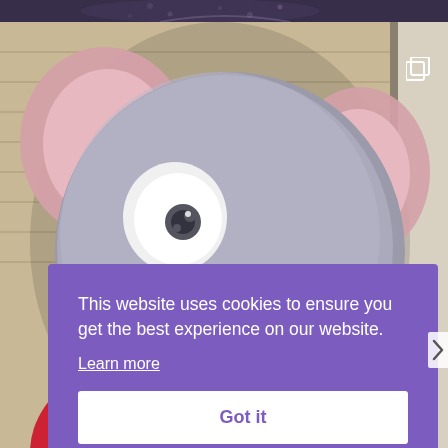[Figure (photo): Top strip showing partial view of a person in a floral/patterned top]
[Figure (photo): Main photo showing a large grey stuffed animal/plush toy resembling a mouse or elephant with pink ears, large white eyes, pink nose, wearing a red patterned outfit. Background shows wooden siding and a doorframe. A small yellow square object is visible at bottom right.]
This website uses cookies to ensure you get the best experience on our website.
Learn more
Got it